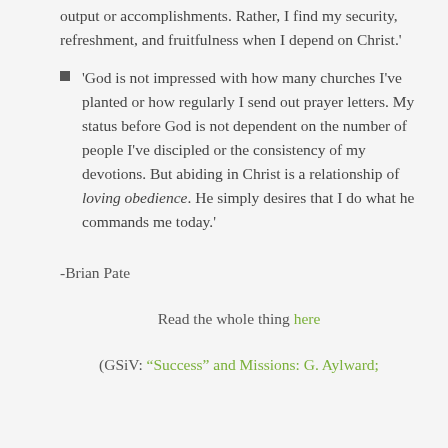output or accomplishments. Rather, I find my security, refreshment, and fruitfulness when I depend on Christ.'
'God is not impressed with how many churches I've planted or how regularly I send out prayer letters. My status before God is not dependent on the number of people I've discipled or the consistency of my devotions. But abiding in Christ is a relationship of loving obedience. He simply desires that I do what he commands me today.'
-Brian Pate
Read the whole thing here
(GSiV: "Success" and Missions: G. Aylward;